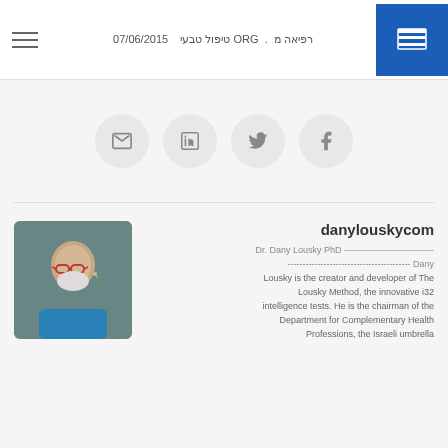07/06/2015  טיפול טבעי ORG . רפיאה מ
[Figure (other): Social sharing icons: email, LinkedIn, Twitter, Facebook in gray circles]
[Figure (photo): Profile photo of Dr. Dany Lousky, an older man with glasses and white beard wearing a blue shirt]
danylouskycom
Dr. Dany Lousky PhD --------------------------------- ----------------------------------------- Dany Lousky is the creator and developer of The Lousky Method, the innovative i32 intelligence tests. He is the chairman of the Department for Complementary Health Professions, the Israeli umbrella